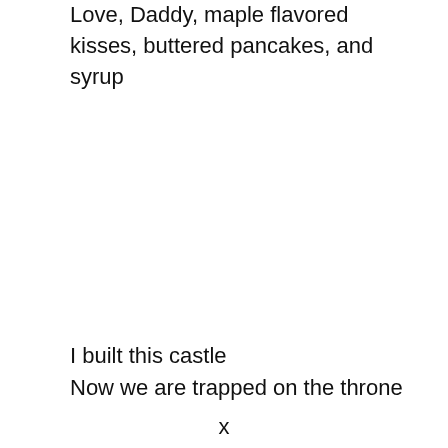Love, Daddy, maple flavored kisses, buttered pancakes, and syrup
I built this castle
Now we are trapped on the throne
x